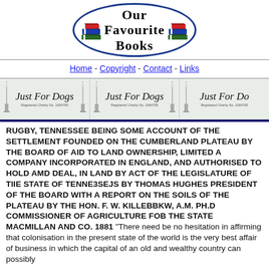[Figure (logo): Our Favourite Books logo — oval border with stacked books illustration on left and right, text 'Our Favourite Books' in bold serif font in center]
Home - Copyright - Contact - Links
[Figure (illustration): Repeating banner ad for 'Just For Dogs' with lighthouse illustrations on a pale green background, repeated three times across the width]
RUGBY, TENNESSEE BEING SOME ACCOUNT OF THE SETTLEMENT FOUNDED ON THE CUMBERLAND PLATEAU BY THE BOARD OF AID TO LAND OWNERSHIP, LIMITED A COMPANY INCORPORATED IN ENGLAND, AND AUTHORISED TO HOLD AMD DEAL, IN LAND BY ACT OF THE LEGISLATURE OF TIIE STATE OF TENNE3SEJS BY THOMAS HUGHES PRESIDENT OF THE BOARD WITH A REPORT ON THE SOILS OF THE PLATEAU BY THE HON. F. W. KILLEBBKW, A.M. Ph.D COMMISSIONER OF AGRICULTURE FOB THE STATE MACMILLAN AND CO. 1881 "There need be no hesitation in affirming that colonisation in the present state of the world is the very best affair of business in which the capital of an old and wealthy country can possibly